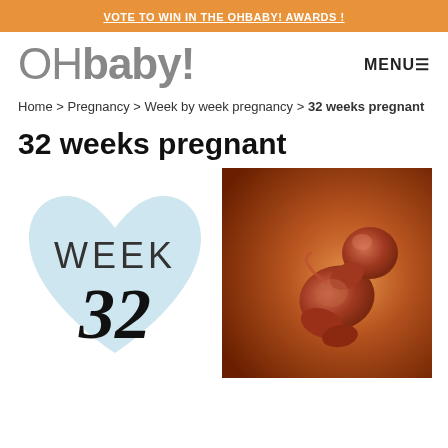VOTE TO WIN IN THE OHBABY! AWARDS !
OHbaby!
Home > Pregnancy > Week by week pregnancy > 32 weeks pregnant
32 weeks pregnant
[Figure (illustration): Heart-shaped light blue illustration with text WEEK 32 in bold serif font]
[Figure (photo): 3D rendered medical illustration of a fetus at 32 weeks in the womb, curled in fetal position against a warm reddish-orange background]